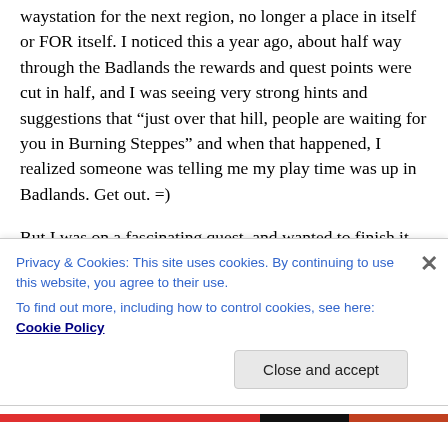waystation for the next region, no longer a place in itself or FOR itself. I noticed this a year ago, about half way through the Badlands the rewards and quest points were cut in half, and I was seeing very strong hints and suggestions that “just over that hill, people are waiting for you in Burning Steppes” and when that happened, I realized someone was telling me my play time was up in Badlands. Get out. =)
But I was on a fascinating quest, and wanted to finish it (Rhea’s Last Egg, which always made me weep a bit), so I did.
Privacy & Cookies: This site uses cookies. By continuing to use this website, you agree to their use.
To find out more, including how to control cookies, see here: Cookie Policy